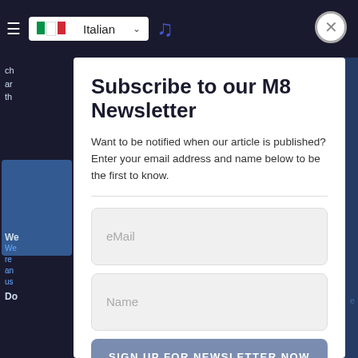[Figure (screenshot): Website screenshot showing Italian language selector in top navigation bar with hamburger menu and M8 logo]
Subscribe to our M8 Newsletter
Want to be notified when our article is published? Enter your email address and name below to be the first to know.
eMail
Name
SIGN UP FOR NEWSLETTER NOW